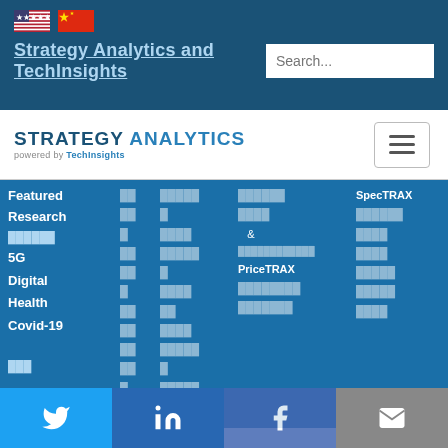[Figure (illustration): US flag and Chinese flag icons in top navigation bar]
Strategy Analytics and TechInsights
Search...
[Figure (logo): Strategy Analytics powered by TechInsights logo with hamburger menu button]
Featured Research
5G
Digital Health
Covid-19
SpecTRAX
PriceTRAX
[Figure (illustration): Social media footer bar with Twitter, LinkedIn, Facebook, and Email icons]